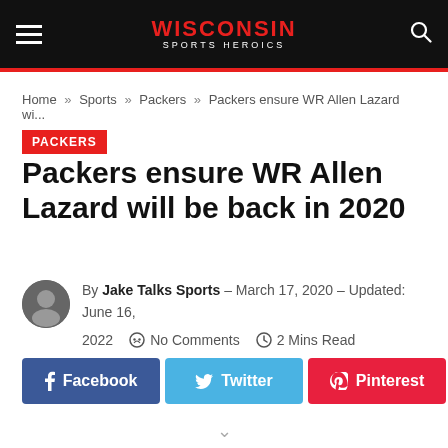Wisconsin Sports Heroics
Home » Sports » Packers » Packers ensure WR Allen Lazard wi...
PACKERS
Packers ensure WR Allen Lazard will be back in 2020
By Jake Talks Sports – March 17, 2020 – Updated: June 16, 2022  No Comments  2 Mins Read
Facebook  Twitter  Pinterest